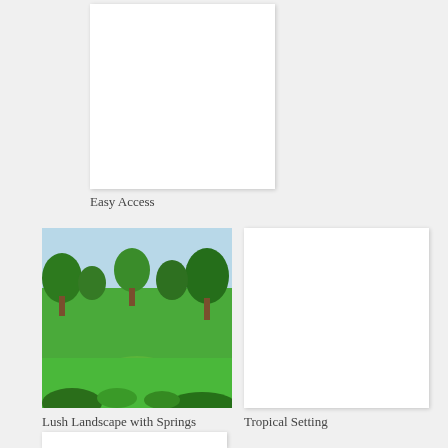[Figure (photo): White/blank image placeholder for 'Easy Access' photo]
Easy Access
[Figure (photo): Lush landscape with green grass, trees, and open field with springs]
[Figure (photo): White/blank image placeholder for 'Tropical Setting' photo]
Lush Landscape with Springs
Tropical Setting
[Figure (photo): White/blank image placeholder at bottom of page]